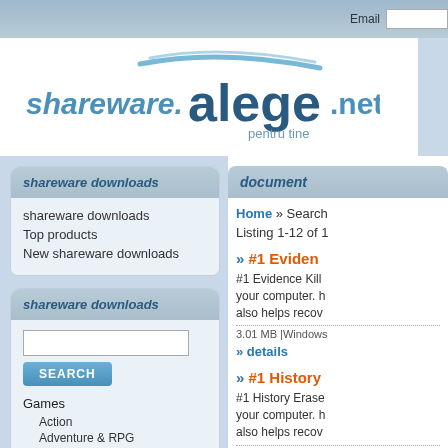Email
[Figure (logo): shareware.alege.net logo with 'pentru tine' tagline]
shareware downloads
shareware downloads
Top products
New shareware downloads
shareware downloads
SEARCH
Games
Action
Adventure & RPG
Arcade
Cards, Casino, Lottery
Kids
Puzzles
document
Home » Search
Listing 1-12 of 1
» #1 Eviden
#1 Evidence Kill your computer. h also helps recov
3.01 MB |Windows
» details
» #1 History
#1 History Erase your computer. h also helps recov
2.87 MB |Windows
» details